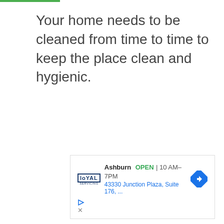Your home needs to be cleaned from time to time to keep the place clean and hygienic.
[Figure (other): Advertisement box for Loyal company showing Ashburn location, OPEN 10AM-7PM, 43330 Junction Plaza, Suite 176, with navigation icon and ad controls]